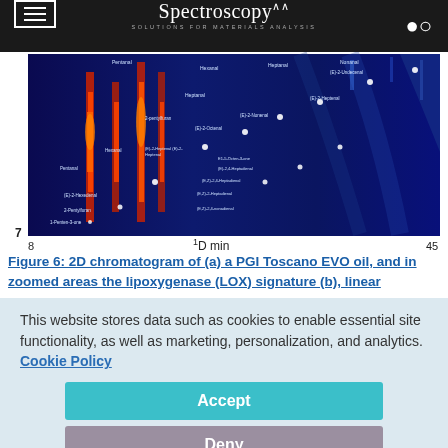Spectroscopy — Solutions for Materials Analysis
[Figure (other): 2D chromatogram (heat map) showing a GC×GC separation of olive oil volatiles with labeled peaks. Dark blue background with colored intensity spots ranging through yellow, orange, red. Axes: x-axis '1D min' from 8 to 45, y-axis labeled '7' at left. Multiple labeled compounds visible including Pentanal, Hexanal, Heptanal, Nonanal, (E)-2-Octenal, (E)-2-Nonenal, (E)-2-Decenal, (E)-2-Undecenal, (E)-2-Decenal, and others.]
Figure 6: 2D chromatogram of (a) a PGI Toscano EVO oil, and in zoomed areas the lipoxygenase (LOX) signature (b), linear …
This website stores data such as cookies to enable essential site functionality, as well as marketing, personalization, and analytics. Cookie Policy
Accept
Deny